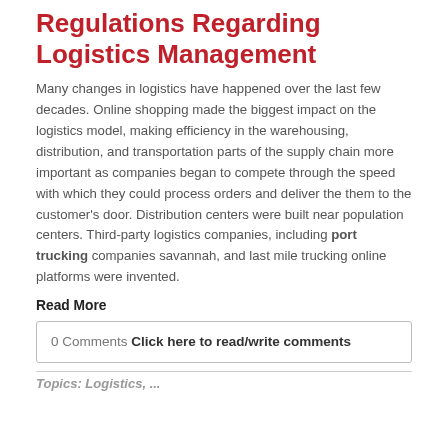Regulations Regarding Logistics Management
Many changes in logistics have happened over the last few decades. Online shopping made the biggest impact on the logistics model, making efficiency in the warehousing, distribution, and transportation parts of the supply chain more important as companies began to compete through the speed with which they could process orders and deliver the them to the customer's door. Distribution centers were built near population centers. Third-party logistics companies, including port trucking companies savannah, and last mile trucking online platforms were invented.
Read More
0 Comments Click here to read/write comments
Topics: Logistics, ...